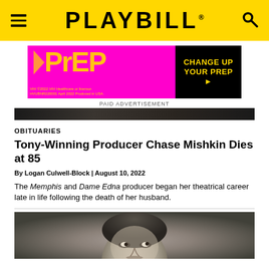PLAYBILL
[Figure (other): Paid advertisement for PrEP medication - pink and black banner ad reading 'CHANGE UP YOUR PrEP' with ViiV Healthcare branding]
PAID ADVERTISEMENT
[Figure (photo): Dark strip image, appears to be a textured dark background or partial photo]
OBITUARIES
Tony-Winning Producer Chase Mishkin Dies at 85
By Logan Culwell-Block | August 10, 2022
The Memphis and Dame Edna producer began her theatrical career late in life following the death of her husband.
[Figure (photo): Black and white portrait photograph showing a person's face looking upward]